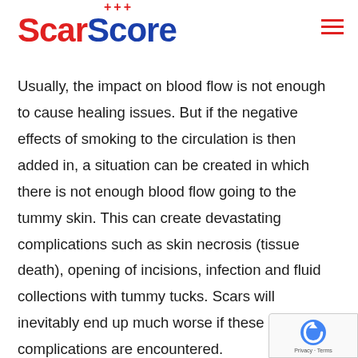[Figure (logo): ScarScore logo with red 'Scar' text, blue 'Score' text, and red cross symbols above]
Usually, the impact on blood flow is not enough to cause healing issues. But if the negative effects of smoking to the circulation is then added in, a situation can be created in which there is not enough blood flow going to the tummy skin. This can create devastating complications such as skin necrosis (tissue death), opening of incisions, infection and fluid collections with tummy tucks. Scars will inevitably end up much worse if these major complications are encountered.